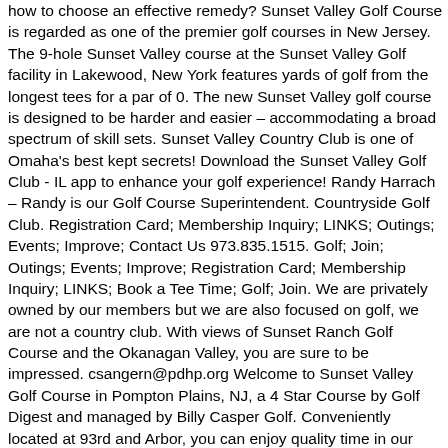how to choose an effective remedy? Sunset Valley Golf Course is regarded as one of the premier golf courses in New Jersey. The 9-hole Sunset Valley course at the Sunset Valley Golf facility in Lakewood, New York features yards of golf from the longest tees for a par of 0. The new Sunset Valley golf course is designed to be harder and easier – accommodating a broad spectrum of skill sets. Sunset Valley Country Club is one of Omaha's best kept secrets! Download the Sunset Valley Golf Club - IL app to enhance your golf experience! Randy Harrach – Randy is our Golf Course Superintendent. Countryside Golf Club. Registration Card; Membership Inquiry; LINKS; Outings; Events; Improve; Contact Us 973.835.1515. Golf; Join; Outings; Events; Improve; Registration Card; Membership Inquiry; LINKS; Book a Tee Time; Golf; Join. We are privately owned by our members but we are also focused on golf, we are not a country club. With views of Sunset Ranch Golf Course and the Okanagan Valley, you are sure to be impressed. csangern@pdhp.org Welcome to Sunset Valley Golf Course in Pompton Plains, NJ, a 4 Star Course by Golf Digest and managed by Billy Casper Golf. Conveniently located at 93rd and Arbor, you can enjoy quality time in our casual, friendly atmosphere within minutes from your home! The course rating is 0.0 and it has a slope rating of 0. Be sure to book your space early as dates are filling quickly!! Designed by , the Sunset Valley golf course opened in 1965. Social club - private golf course … 69 People Used View all course » Visit Site Highland Park Golf - Sunset Valley Golf Course - 847 432 7140. Get golf course